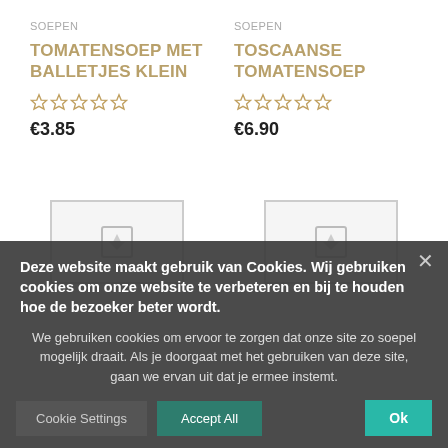SOEPEN
TOMATENSOEP MET BALLETJES KLEIN
€3.85
SOEPEN
TOSCAANSE TOMATENSOEP
€6.90
[Figure (screenshot): Product image placeholder for first product]
[Figure (screenshot): Product image placeholder for second product]
Deze website maakt gebruik van Cookies. Wij gebruiken cookies om onze website te verbeteren en bij te houden hoe de bezoeker beter wordt.
We gebruiken cookies om ervoor te zorgen dat onze site zo soepel mogelijk draait. Als je doorgaat met het gebruiken van deze site, gaan we ervan uit dat je ermee instemt.
Cookie Settings
Accept All
Ok